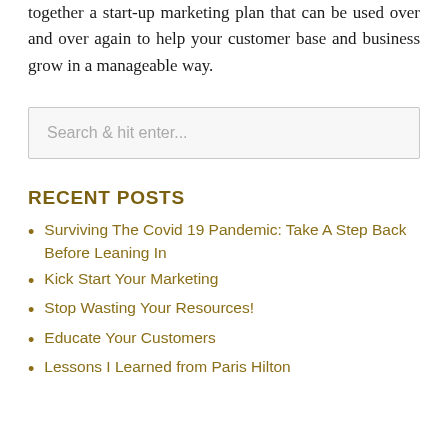together a start-up marketing plan that can be used over and over again to help your customer base and business grow in a manageable way.
Search & hit enter...
RECENT POSTS
Surviving The Covid 19 Pandemic: Take A Step Back Before Leaning In
Kick Start Your Marketing
Stop Wasting Your Resources!
Educate Your Customers
Lessons I Learned from Paris Hilton